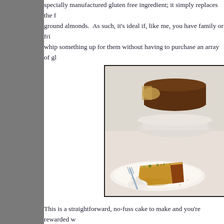specially manufactured gluten free ingredient; it simply replaces the flour with ground almonds.  As such, it's ideal if, like me, you have family or friends to whip something up for them without having to purchase an array of gl...
[Figure (photo): Photo of a cake slice on a decorative plate with a fork, alongside a whole cake on a white cake stand in the background. The cake appears golden/orange with toppings, and there is a white accompaniment on the plate.]
This is a straightforward, no-fuss cake to make and you're rewarded w...